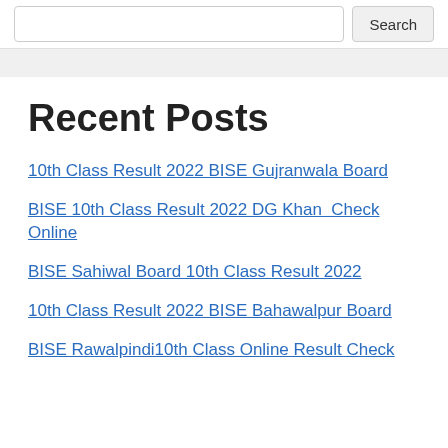Search
Recent Posts
10th Class Result 2022 BISE Gujranwala Board
BISE 10th Class Result 2022 DG Khan  Check Online
BISE Sahiwal Board 10th Class Result 2022
10th Class Result 2022 BISE Bahawalpur Board
BISE Rawalpindi10th Class Online Result Check